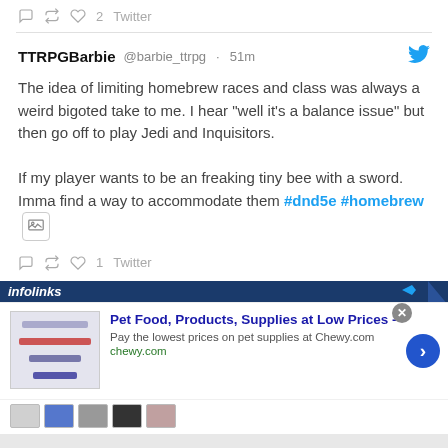reply · retweet · 2 likes · Twitter
TTRPGBarbie @barbie_ttrpg · 51m
The idea of limiting homebrew races and class was always a weird bigoted take to me. I hear "well it's a balance issue" but then go off to play Jedi and Inquisitors.

If my player wants to be an freaking tiny bee with a sword. Imma find a way to accommodate them #dnd5e #homebrew
reply · retweet · 1 like · Twitter
infolinks
Pet Food, Products, Supplies at Low Prices -
Pay the lowest prices on pet supplies at Chewy.com
chewy.com